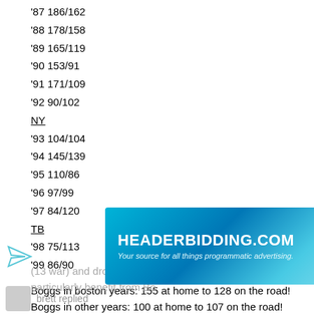'87 186/162
'88 178/158
'89 165/119
'90 153/91
'91 171/109
'92 90/102
NY
'93 104/104
'94 145/139
'95 110/86
'96 97/99
'97 84/120
TB
'98 75/113
'99 86/90
Boggs in boston years: 155 at home to 128 on the road!
Boggs in other years: 100 at home to 107 on the road!
So Boggs did not really "adjust" to other home parks, he just benefitted particularly from Boston. Furthermore Boggs' road adjusted OPS+'s would only suggest a true 121 OPS+ batter. This is a big reason why I drop Boggs in my overall ranking in war. With a 121 OPS+ he would actually lose about 132 batting runs above average (13 war) and drop to about 75 total war. He did particularly benefit from Bo...
[Figure (other): Advertisement banner for HEADERBIDDING.COM with tagline 'Your source for all things programmatic advertising.' on a blue/teal gradient background.]
brett replied